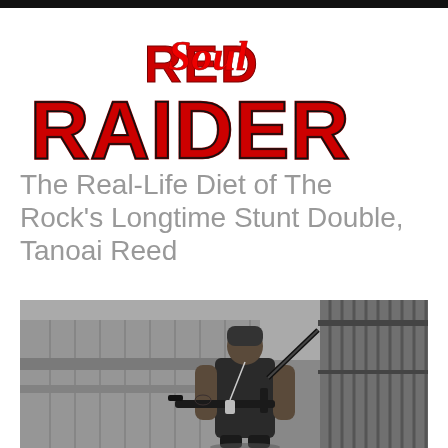[Figure (logo): Red Soul Raider logo with red block letters RAIDER and stylized red cursive Soul text on top]
The Real-Life Diet of The Rock's Longtime Stunt Double, Tanoai Reed
[Figure (photo): Black and white photo of a muscular man in black clothing and beanie hat holding a rifle, standing next to metal bars/fence structure in an industrial setting]